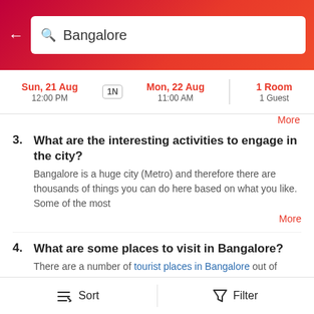Bangalore (search bar with back arrow)
Sun, 21 Aug 12:00 PM | 1N | Mon, 22 Aug 11:00 AM | 1 Room 1 Guest
More
3. What are the interesting activities to engage in the city? Bangalore is a huge city (Metro) and therefore there are thousands of things you can do here based on what you like. Some of the most More
4. What are some places to visit in Bangalore? There are a number of tourist places in Bangalore out of which Bangalore Palace, Vidhan Soudha and Tipu Sultan Palace are the most More
5. What is a good time to visit Bangalore? The good time to visit Bangalore is between September and May. This city experiences mild winters and the summer are pleasant too. More
6. How to book an affordable homestay in Bangalore?
Sort | Filter